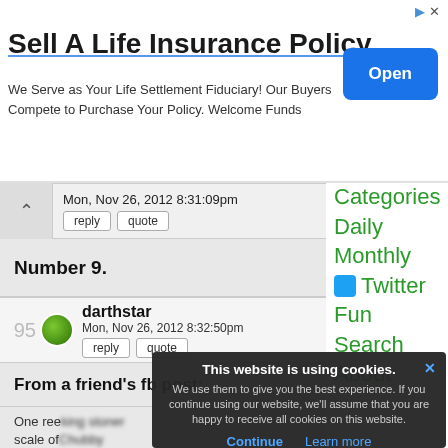[Figure (screenshot): Advertisement banner: Sell A Life Insurance Policy with Open button]
Mon, Nov 26, 2012 8:31:09pm
reply  quote
Number 9.
darthstar
Mon, Nov 26, 2012 8:32:50pm
reply  quote
From a friend's fb post:
One reeking stoner...
scale of Chubby...
Categories
Daily
Monthly
Twitter
Fun
Search
About
This website is using cookies. We use them to give you the best experience. If you continue using our website, we'll assume that you are happy to receive all cookies on this website. Continue  Learn more